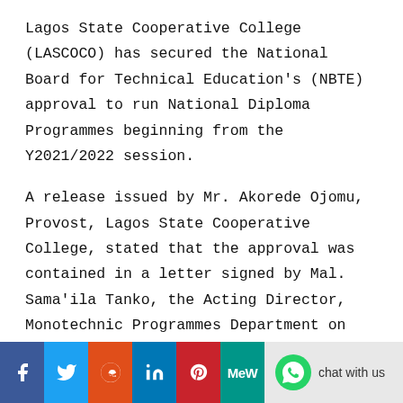Lagos State Cooperative College (LASCOCO) has secured the National Board for Technical Education's (NBTE) approval to run National Diploma Programmes beginning from the Y2021/2022 session.
A release issued by Mr. Akorede Ojomu, Provost, Lagos State Cooperative College, stated that the approval was contained in a letter signed by Mal. Sama'ila Tanko, the Acting Director, Monotechnic Programmes Department on behalf of the Executive Secretary of NBTE.
[Figure (infographic): Social media sharing bar with Facebook, Twitter, Reddit, LinkedIn, Pinterest, MeWe buttons and WhatsApp chat with us button]